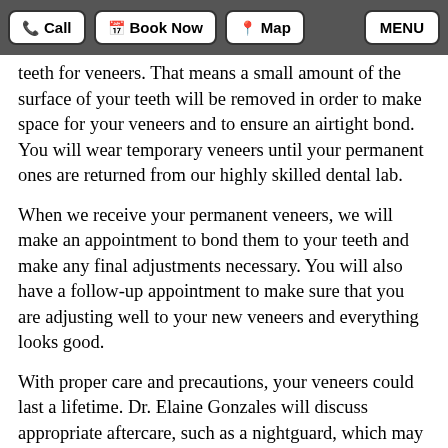Call | Book Now | Map | MENU
teeth for veneers. That means a small amount of the surface of your teeth will be removed in order to make space for your veneers and to ensure an airtight bond. You will wear temporary veneers until your permanent ones are returned from our highly skilled dental lab.
When we receive your permanent veneers, we will make an appointment to bond them to your teeth and make any final adjustments necessary. You will also have a follow-up appointment to make sure that you are adjusting well to your new veneers and everything looks good.
With proper care and precautions, your veneers could last a lifetime. Dr. Elaine Gonzales will discuss appropriate aftercare, such as a nightguard, which may be necessary to protect your veneers.